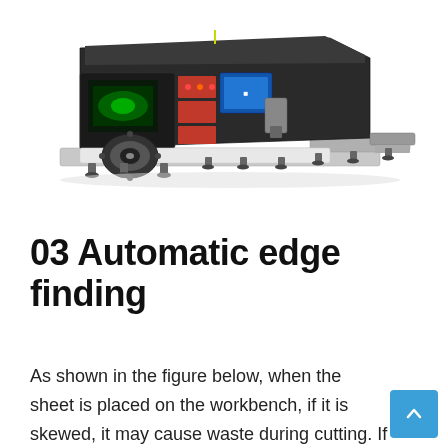[Figure (photo): Industrial fiber laser cutting machine with open hood, showing the laser head, red control panel, blue display screen, rotary axis attachment, and multiple leveling feet on the base. Photographed from a front-right angle on white background.]
03 Automatic edge finding
As shown in the figure below, when the sheet is placed on the workbench, if it is skewed, it may cause waste during cutting. If the inclination angle and origin of the sheet can be sensed,